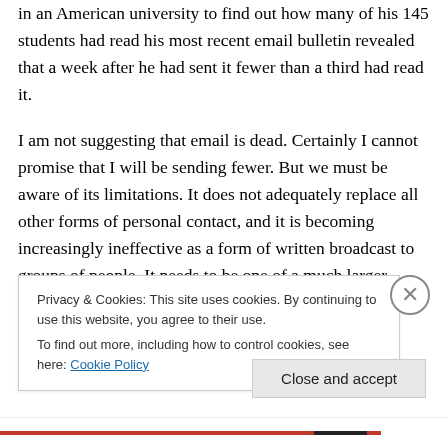in an American university to find out how many of his 145 students had read his most recent email bulletin revealed that a week after he had sent it fewer than a third had read it.
I am not suggesting that email is dead. Certainly I cannot promise that I will be sending fewer. But we must be aware of its limitations. It does not adequately replace all other forms of personal contact, and it is becoming increasingly ineffective as a form of written broadcast to groups of people. It needs to be one of a much larger menu of communications, designed to meet the needs of
Privacy & Cookies: This site uses cookies. By continuing to use this website, you agree to their use.
To find out more, including how to control cookies, see here: Cookie Policy